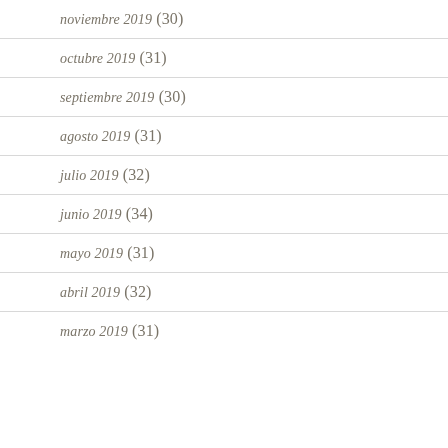noviembre 2019 (30)
octubre 2019 (31)
septiembre 2019 (30)
agosto 2019 (31)
julio 2019 (32)
junio 2019 (34)
mayo 2019 (31)
abril 2019 (32)
marzo 2019 (31)